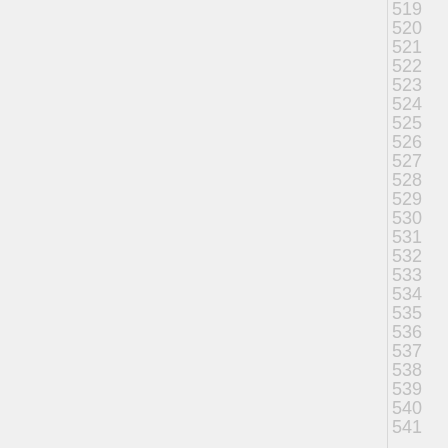519
520
521
522
523
524
525
526
527
528
529
530
531
532
533
534
535
536
537
538
539
540
541